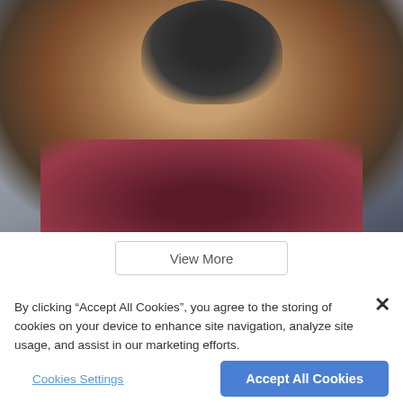[Figure (photo): A smiling baseball player wearing a dark helmet and maroon jersey, holding a bat, with stadium seats in the background.]
View More
By clicking “Accept All Cookies”, you agree to the storing of cookies on your device to enhance site navigation, analyze site usage, and assist in our marketing efforts.
Cookies Settings
Accept All Cookies